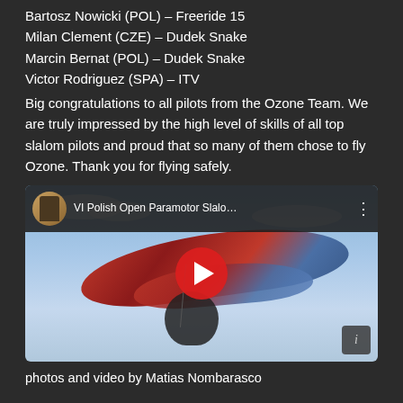Bartosz Nowicki (POL) – Freeride 15
Milan Clement (CZE) – Dudek Snake
Marcin Bernat (POL) – Dudek Snake
Victor Rodriguez (SPA) – ITV
Big congratulations to all pilots from the Ozone Team. We are truly impressed by the high level of skills of all top slalom pilots and proud that so many of them chose to fly Ozone. Thank you for flying safely.
[Figure (screenshot): YouTube video thumbnail showing two paramotors flying with red and blue wings against a cloudy sky. The video title reads 'VI Polish Open Paramotor Slalo...' with a YouTube channel avatar and a red play button overlay.]
photos and video by Matias Nombarasco